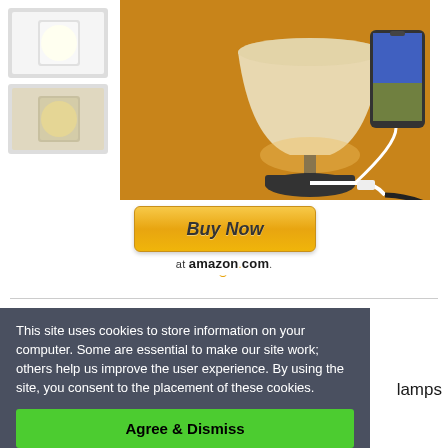[Figure (photo): Product photo of a table lamp with USB charging ports and a smartphone plugged in charging, shown against a warm amber background. Inset images in top-left show the lamp's light settings.]
[Figure (other): Buy Now at amazon.com button with Amazon logo and smile arrow]
This site uses cookies to store information on your computer. Some are essential to make our site work; others help us improve the user experience. By using the site, you consent to the placement of these cookies.
Agree & Dismiss
lamps